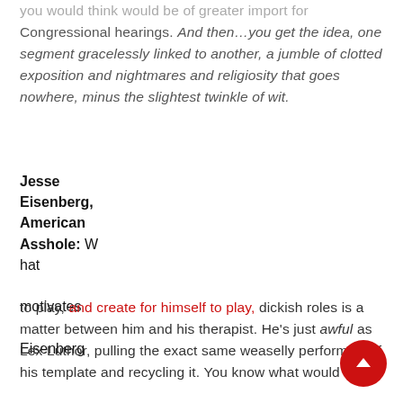you would think would be of greater import for Congressional hearings. And then…you get the idea, one segment gracelessly linked to another, a jumble of clotted exposition and nightmares and religiosity that goes nowhere, minus the slightest twinkle of wit.
Jesse Eisenberg, American Asshole: What motivates Eisenberg to play, and create for himself to play, dickish roles is a matter between him and his therapist. He's just awful as Lex Luthor, pulling the exact same weaselly performance off his template and recycling it. You know what would